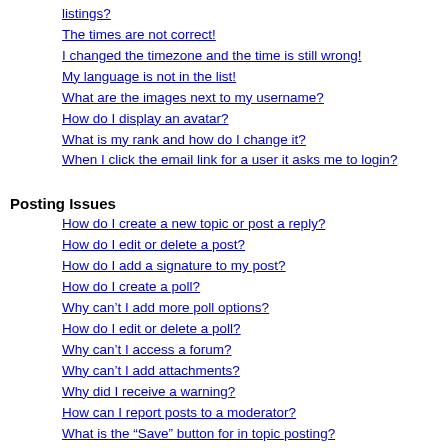listings?
The times are not correct!
I changed the timezone and the time is still wrong!
My language is not in the list!
What are the images next to my username?
How do I display an avatar?
What is my rank and how do I change it?
When I click the email link for a user it asks me to login?
Posting Issues
How do I create a new topic or post a reply?
How do I edit or delete a post?
How do I add a signature to my post?
How do I create a poll?
Why can’t I add more poll options?
How do I edit or delete a poll?
Why can’t I access a forum?
Why can’t I add attachments?
Why did I receive a warning?
How can I report posts to a moderator?
What is the “Save” button for in topic posting?
Why does my post need to be approved?
How do I bump my topic?
Formatting and Topic Types
What is BBCode?